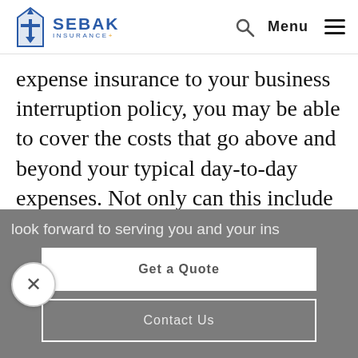SEBAK INSURANCE — Menu
expense insurance to your business interruption policy, you may be able to cover the costs that go above and beyond your typical day-to-day expenses. Not only can this include a temporary relocation to a new place of work,
look forward to serving you and your ins
Get a Quote
Contact Us